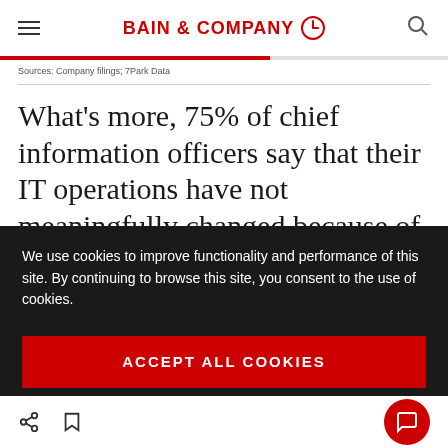BAIN & COMPANY
Sources: Company filings; 7Park Data
What’s more, 75% of chief information officers say that their IT operations have not meaningfully changed because of Covid-19. Of those with IT operations that have been significantly affected, only one-third plan to
We use cookies to improve functionality and performance of this site. By continuing to browse this site, you consent to the use of cookies.
ACCEPT ALL COOKIES